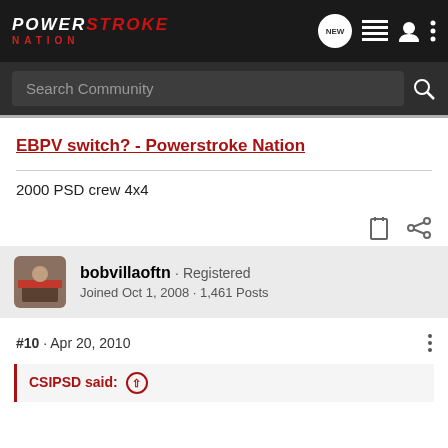Power Stroke Nation
Search Community
EBPV switch? - Powerstroke Nation
2000 PSD crew 4x4
bobvillaoftn · Registered
Joined Oct 1, 2008 · 1,461 Posts
#10 · Apr 20, 2010
CSIPSD said: